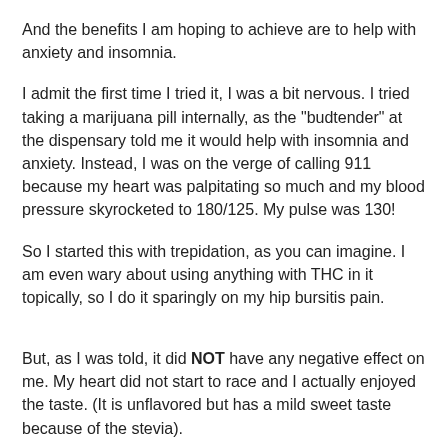And the benefits I am hoping to achieve are to help with anxiety and insomnia.
I admit the first time I tried it, I was a bit nervous. I tried taking a marijuana pill internally, as the "budtender" at the dispensary told me it would help with insomnia and anxiety. Instead, I was on the verge of calling 911 because my heart was palpitating so much and my blood pressure skyrocketed to 180/125. My pulse was 130!
So I started this with trepidation, as you can imagine. I am even wary about using anything with THC in it topically, so I do it sparingly on my hip bursitis pain.
But, as I was told, it did NOT have any negative effect on me. My heart did not start to race and I actually enjoyed the taste. (It is unflavored but has a mild sweet taste because of the stevia).